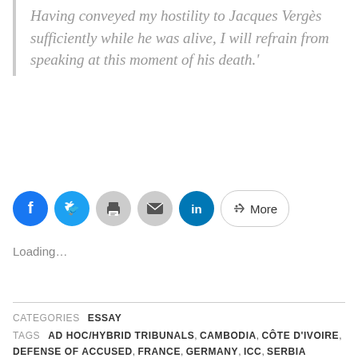Having conveyed my hostility to Jacques Vergès sufficiently while he was alive, I will refrain from speaking at this moment of his death.'
[Figure (other): Social media share buttons: Facebook (blue circle), Twitter (light blue circle), Print (grey circle), Email (grey circle), LinkedIn (dark blue circle), and a More button with share icon]
Loading…
CATEGORIES  ESSAY
TAGS  AD HOC/HYBRID TRIBUNALS, CAMBODIA, CÔTE D'IVOIRE, DEFENSE OF ACCUSED, FRANCE, GERMANY, ICC, SERBIA